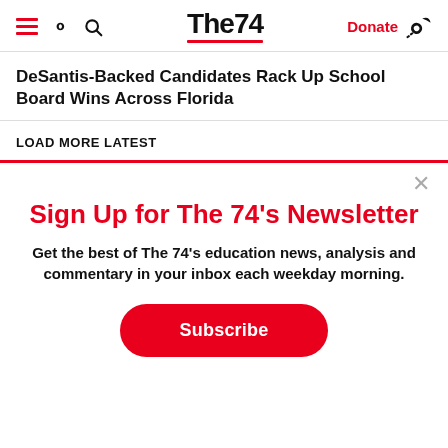The74 | Donate
DeSantis-Backed Candidates Rack Up School Board Wins Across Florida
LOAD MORE LATEST
Sign Up for The 74's Newsletter
Get the best of The 74's education news, analysis and commentary in your inbox each weekday morning.
Subscribe